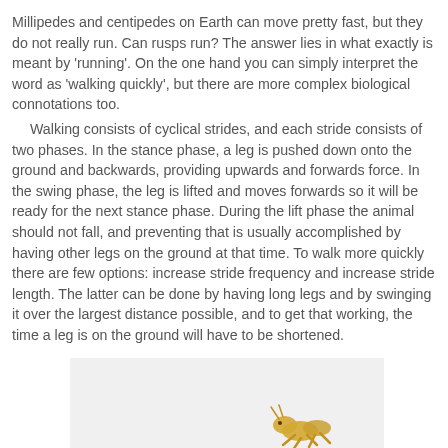Millipedes and centipedes on Earth can move pretty fast, but they do not really run. Can rusps run? The answer lies in what exactly is meant by 'running'. On the one hand you can simply interpret the word as 'walking quickly', but there are more complex biological connotations too. Walking consists of cyclical strides, and each stride consists of two phases. In the stance phase, a leg is pushed down onto the ground and backwards, providing upwards and forwards force. In the swing phase, the leg is lifted and moves forwards so it will be ready for the next stance phase. During the lift phase the animal should not fall, and preventing that is usually accomplished by having other legs on the ground at that time. To walk more quickly there are few options: increase stride frequency and increase stride length. The latter can be done by having long legs and by swinging it over the largest distance possible, and to get that working, the time a leg is on the ground will have to be shortened.
[Figure (illustration): A partial illustration showing what appears to be a creature or animal figure, only partially visible at the bottom of the page, on a light gray background.]